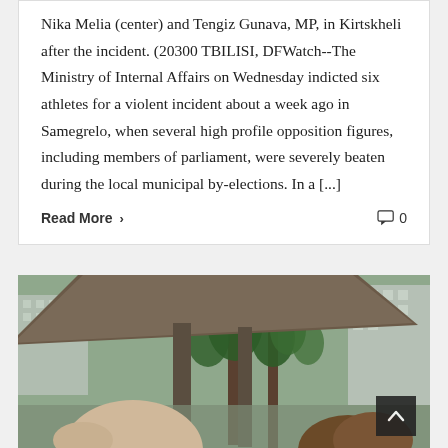Nika Melia (center) and Tengiz Gunava, MP, in Kirtskheli after the incident. (20300 TBILISI, DFWatch--The Ministry of Internal Affairs on Wednesday indicted six athletes for a violent incident about a week ago in Samegrelo, when several high profile opposition figures, including members of parliament, were severely beaten during the local municipal by-elections. In a [...]
Read More ›   0
[Figure (photo): Outdoor photo showing a person's head in the foreground, trees, a large angular structure overhead, and apartment buildings in the background. A back-to-top button is visible in the lower right corner.]